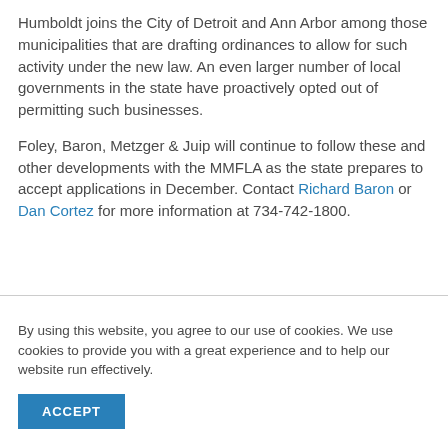Humboldt joins the City of Detroit and Ann Arbor among those municipalities that are drafting ordinances to allow for such activity under the new law. An even larger number of local governments in the state have proactively opted out of permitting such businesses.
Foley, Baron, Metzger & Juip will continue to follow these and other developments with the MMFLA as the state prepares to accept applications in December. Contact Richard Baron or Dan Cortez for more information at 734-742-1800.
By using this website, you agree to our use of cookies. We use cookies to provide you with a great experience and to help our website run effectively.
ACCEPT